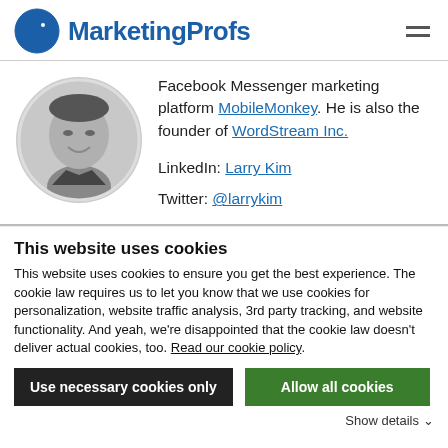MarketingProfs
[Figure (photo): Circular black-and-white headshot photo of a smiling Asian man]
Facebook Messenger marketing platform MobileMonkey. He is also the founder of WordStream Inc.

LinkedIn: Larry Kim

Twitter: @larrykim
This website uses cookies
This website uses cookies to ensure you get the best experience. The cookie law requires us to let you know that we use cookies for personalization, website traffic analysis, 3rd party tracking, and website functionality. And yeah, we're disappointed that the cookie law doesn't deliver actual cookies, too. Read our cookie policy.
Use necessary cookies only | Allow all cookies
Show details